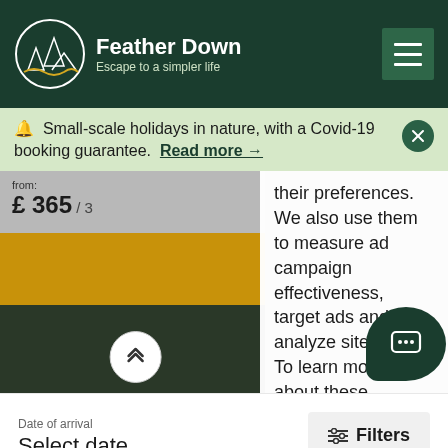Feather Down — Escape to a simpler life
Small-scale holidays in nature, with a Covid-19 booking guarantee. Read more →
£ 365 / 3
their preferences. We also use them to measure ad campaign effectiveness, target ads and analyze site traffic. To learn more about these methods, view our Cookie Policy. By tapping Save or I agree, you consent to the use of these methods by us and third parties.
Date of arrival
Select date
Filters